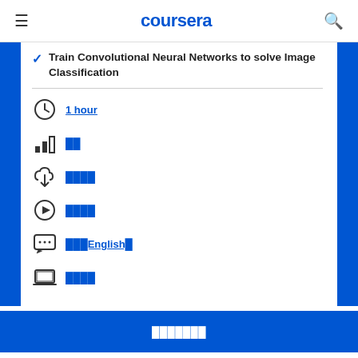coursera
Train Convolutional Neural Networks to solve Image Classification
1 hour
██
████
████
███English█
████
███████